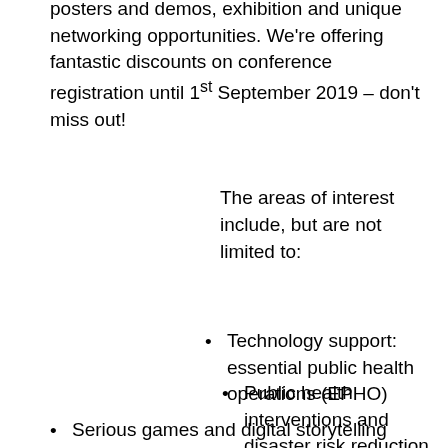packed programme of plenary panels, workshops, posters and demos, exhibition and unique networking opportunities. We're offering fantastic discounts on conference registration until 1st September 2019 – don't miss out!
The areas of interest include, but are not limited to:
Technology support: essential public health operations (EPHO)
Public health interventions and disaster risk reduction (DRR) using mobile technologies
Serious games and digital storytelling
Robot-assisted...